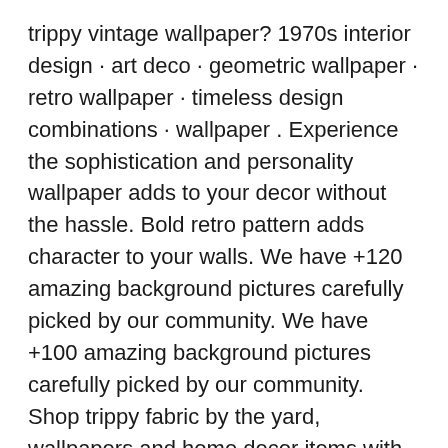trippy vintage wallpaper? 1970s interior design · art deco · geometric wallpaper · retro wallpaper · timeless design combinations · wallpaper . Experience the sophistication and personality wallpaper adds to your decor without the hassle. Bold retro pattern adds character to your walls. We have +120 amazing background pictures carefully picked by our community. We have +100 amazing background pictures carefully picked by our community. Shop trippy fabric by the yard, wallpapers and home decor items with. Vintage chic, a declaration of love & homage to bygone times | vintage and retro wallpaper models create an authentic ambience | large selection. Free download retro sunset blender gimp vaporwave wallpaper trippy wallpaper for desktop, mobile & tablet. Choose from a curated selection of